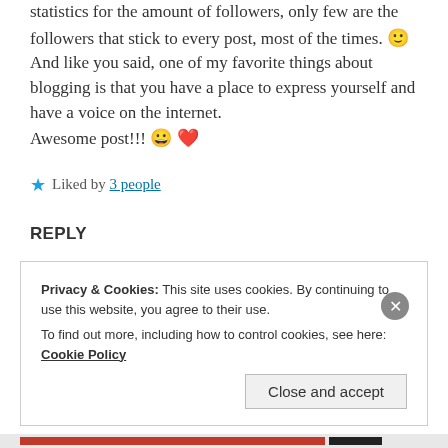statistics for the amount of followers, only few are the followers that stick to every post, most of the times. 🙂 And like you said, one of my favorite things about blogging is that you have a place to express yourself and have a voice on the internet. Awesome post!!! 😀 ❤️
★ Liked by 3 people
REPLY
Privacy & Cookies: This site uses cookies. By continuing to use this website, you agree to their use. To find out more, including how to control cookies, see here: Cookie Policy
Close and accept